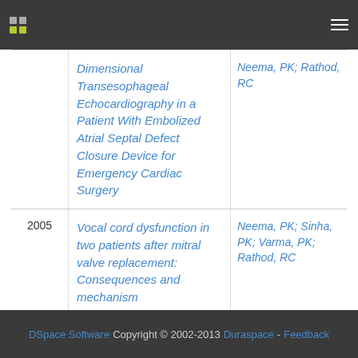DSpace repository header navigation
| Year | Title | Authors |
| --- | --- | --- |
|  | Dimensional Transesophageal Echocardiography in a Patient With Embolized Atrial Septal Defect Closure Device for Emergency Cardiac Surgery | Neema, PK; Rathod, RC |
| 2005 | Vocal cord dysfunction in two patients after mitral valve replacement: Consequences and mechanism | Neema, PK; Sinha, PK; Varma, PK; Rathod, RC |
< previous  Showing results 30 to 41 of 41
DSpace Software Copyright © 2002-2013 Duraspace - Feedback